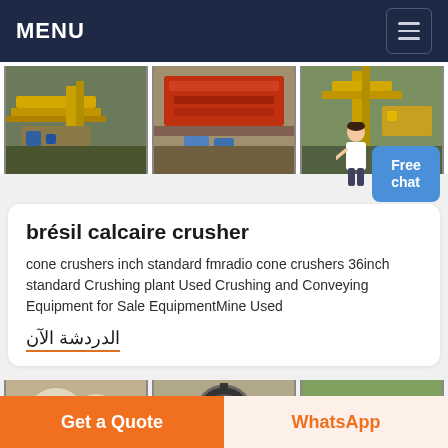MENU
[Figure (photo): Three photos of industrial crushing/conveying equipment and machinery at a mining or quarry site]
brésil calcaire crusher
cone crushers inch standard fmradio cone crushers 36inch standard Crushing plant Used Crushing and Conveying Equipment for Sale EquipmentMine Used
الدردشة الآن
[Figure (photo): Three photos of industrial crushing equipment and machinery]
Get a Quote
WhatsApp